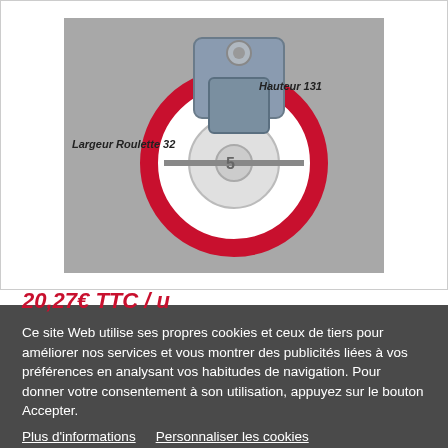[Figure (photo): Product photo of a red and white industrial caster wheel with metal bracket. Labels on image: 'Largeur Roulette 32' and 'Hauteur 131'.]
Ce site Web utilise ses propres cookies et ceux de tiers pour améliorer nos services et vous montrer des publicités liées à vos préférences en analysant vos habitudes de navigation. Pour donner votre consentement à son utilisation, appuyez sur le bouton Accepter.
Plus d'informations   Personnaliser les cookies
REJETER TOUT
J'ACCEPTE